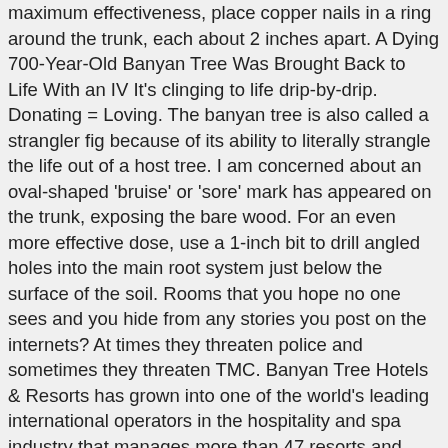maximum effectiveness, place copper nails in a ring around the trunk, each about 2 inches apart. A Dying 700-Year-Old Banyan Tree Was Brought Back to Life With an IV It's clinging to life drip-by-drip. Donating = Loving. The banyan tree is also called a strangler fig because of its ability to literally strangle the life out of a host tree. I am concerned about an oval-shaped 'bruise' or 'sore' mark has appeared on the trunk, exposing the bare wood. For an even more effective dose, use a 1-inch bit to drill angled holes into the main root system just below the surface of the soil. Rooms that you hope no one sees and you hide from any stories you post on the internets? At times they threaten police and sometimes they threaten TMC. Banyan Tree Hotels & Resorts has grown into one of the world's leading international operators in the hospitality and spa industry that manages more than 47 resorts and hotels, 64 spas, 72 retail galleries and three championship golf courses in 24 countries. Look at the pictures and read the lines given along with them. Indians knew the Banyan tree as the Vata-vriksha. Kill a tree the easiest way and with certainty and without having to cut it down